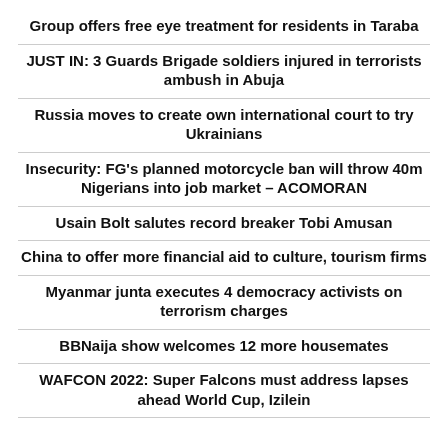Group offers free eye treatment for residents in Taraba
JUST IN: 3 Guards Brigade soldiers injured in terrorists ambush in Abuja
Russia moves to create own international court to try Ukrainians
Insecurity: FG's planned motorcycle ban will throw 40m Nigerians into job market – ACOMORAN
Usain Bolt salutes record breaker Tobi Amusan
China to offer more financial aid to culture, tourism firms
Myanmar junta executes 4 democracy activists on terrorism charges
BBNaija show welcomes 12 more housemates
WAFCON 2022: Super Falcons must address lapses ahead World Cup, Izilein